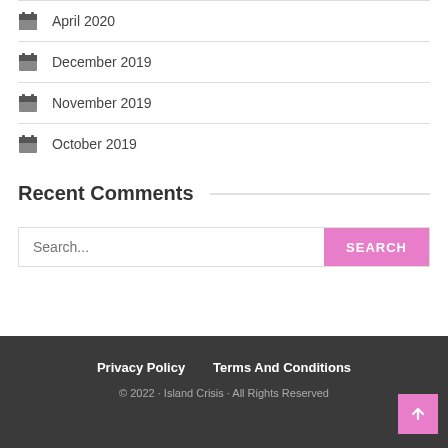April 2020
December 2019
November 2019
October 2019
Recent Comments
Search...
Privacy Policy  Terms And Conditions  © 2022 · Island Crisis · All Rights Reserved